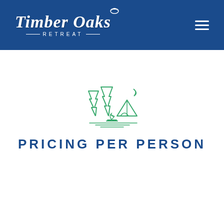Timber Oaks Retreat
[Figure (illustration): Camping scene icon with pine trees, tent, campfire flames, moon, and horizontal ground lines, drawn in green outline style]
PRICING PER PERSON